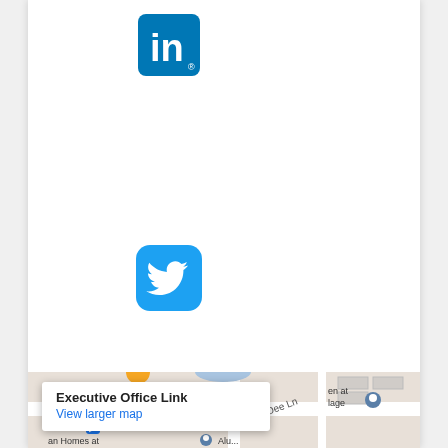[Figure (logo): LinkedIn logo icon — blue rounded square with white 'in' text]
[Figure (logo): Twitter logo icon — light blue rounded square with white bird silhouette]
[Figure (map): Google Maps screenshot showing Executive Office Link location popup with 'View larger map' link, Wawa nearby, Dee Ln road visible]